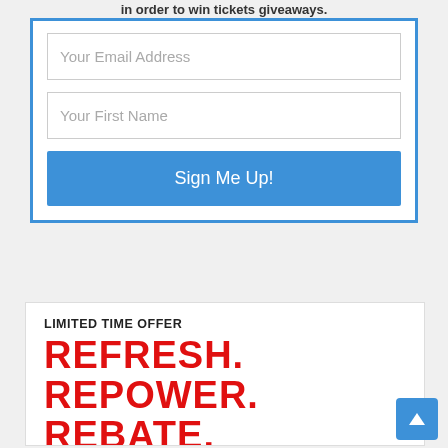in order to win tickets giveaways.
Your Email Address
Your First Name
Sign Me Up!
LIMITED TIME OFFER
REFRESH. REPOWER. REBATE.